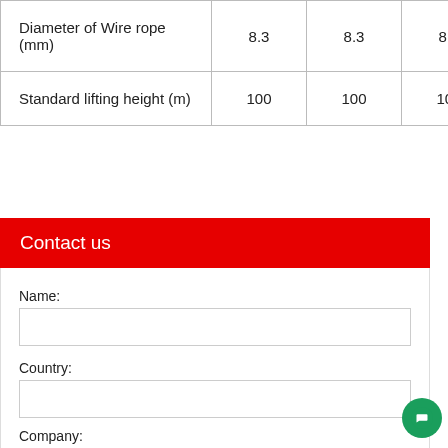| Diameter of Wire rope (mm) | 8.3 | 8.3 | 8.3 |
| Standard lifting height (m) | 100 | 100 | 100 |
Contact us
Name:
Country:
Company: